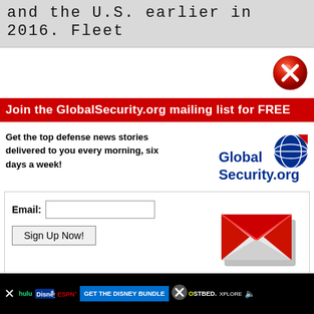and the U.S. earlier in 2016. Fleet
[Figure (illustration): Red circle with white X close button icon]
Join the GlobalSecurity.org mailing list for FREE
Get the top defense news stories delivered to you every morning, six days a week!
[Figure (logo): GlobalSecurity.org logo with globe icon]
[Figure (illustration): Email input form with Sign Up Now button and envelope/mail icon]
We value your privacy. We will not rent or sell your email address.
[Figure (screenshot): Bottom advertisement bar for Disney Bundle (Hulu, Disney+, ESPN+) with GET THE DISNEY BUNDLE CTA, HostBed ad, and close buttons]